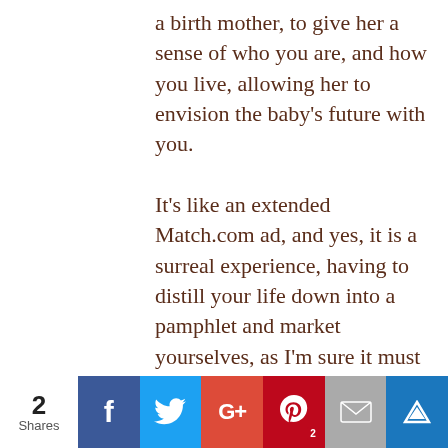a birth mother, to give her a sense of who you are, and how you live, allowing her to envision the baby’s future with you.
It’s like an extended Match.com ad, and yes, it is a surreal experience, having to distill your life down into a pamphlet and market yourselves, as I’m sure it must be equally so for pregnant women to review stacks of prospective families, trying to decide which family, if any, feels like the right one.
2 Shares | Facebook | Twitter | Google+ | Pinterest 2 | Email | Crown